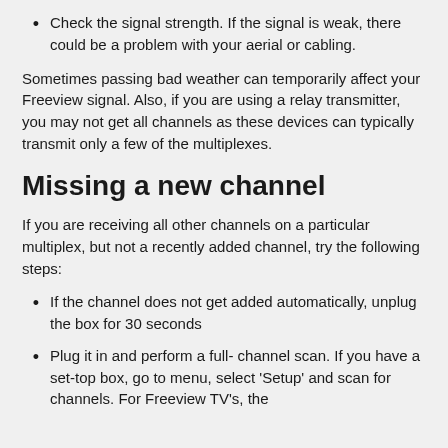Check the signal strength. If the signal is weak, there could be a problem with your aerial or cabling.
Sometimes passing bad weather can temporarily affect your Freeview signal. Also, if you are using a relay transmitter, you may not get all channels as these devices can typically transmit only a few of the multiplexes.
Missing a new channel
If you are receiving all other channels on a particular multiplex, but not a recently added channel, try the following steps:
If the channel does not get added automatically, unplug the box for 30 seconds
Plug it in and perform a full- channel scan. If you have a set-top box, go to menu, select ‘Setup’ and scan for channels. For Freeview TV’s, the